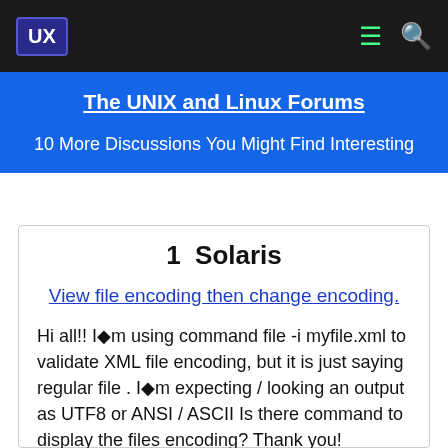UX | The UNIX and Linux Forums
The UNIX and Linux Forums
10 More Discussions You Might Find Interesting
1  Solaris
View file encoding then change encoding.
Hi all!! I�m using command file -i myfile.xml to validate XML file encoding, but it is just saying regular file . I�m expecting / looking an output as UTF8 or ANSI / ASCII Is there command to display the files encoding? Thank you!